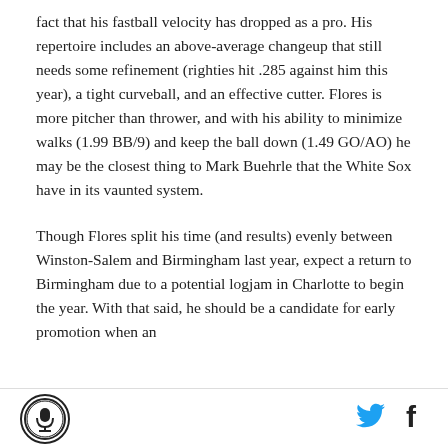fact that his fastball velocity has dropped as a pro. His repertoire includes an above-average changeup that still needs some refinement (righties hit .285 against him this year), a tight curveball, and an effective cutter. Flores is more pitcher than thrower, and with his ability to minimize walks (1.99 BB/9) and keep the ball down (1.49 GO/AO) he may be the closest thing to Mark Buehrle that the White Sox have in its vaunted system.
Though Flores split his time (and results) evenly between Winston-Salem and Birmingham last year, expect a return to Birmingham due to a potential logjam in Charlotte to begin the year. With that said, he should be a candidate for early promotion when an
[Figure (logo): Circular logo with microphone icon, black and white]
[Figure (logo): Twitter bird icon in blue]
[Figure (logo): Facebook f icon in black]